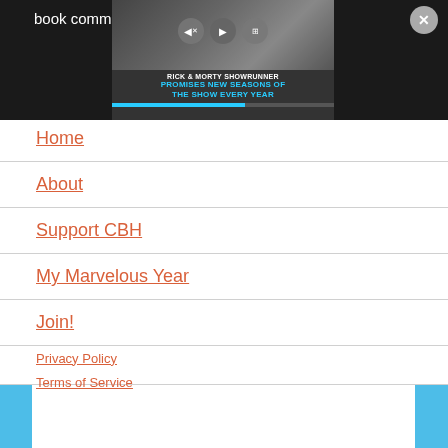[Figure (screenshot): Dark header with partial text 'book commu...' and a video overlay showing Rick & Morty Showrunner Promises New Seasons of the Show Every Year, with a close button]
Home
About
Support CBH
My Marvelous Year
Join!
Privacy Policy
Terms of Service